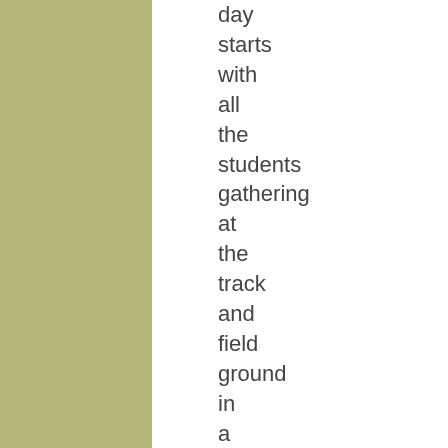day starts with all the students gathering at the track and field ground in a very orderly fashion and do exercises following